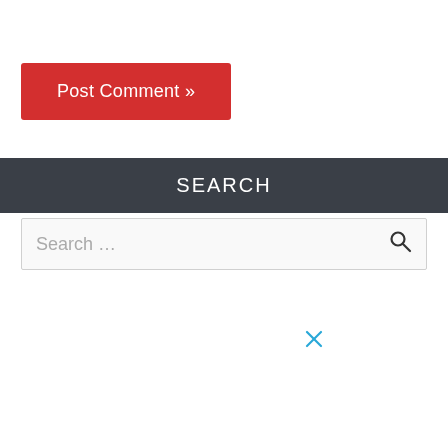[Figure (screenshot): Red 'Post Comment »' button]
SEARCH
[Figure (screenshot): Search input box with placeholder text 'Search ...' and a magnifying glass icon]
[Figure (screenshot): Blue/teal X close icon]